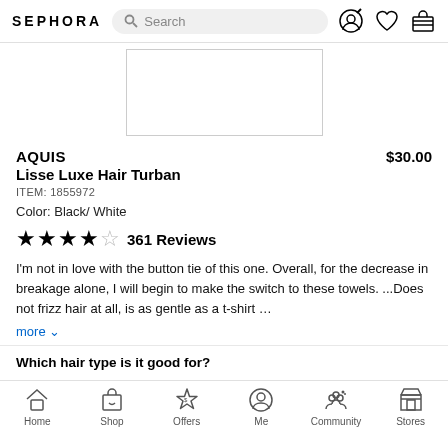SEPHORA — Search bar, icons
[Figure (photo): Product image placeholder — white rectangle with border]
AQUIS Lisse Luxe Hair Turban
ITEM: 1855972
Color: Black/ White
★★★★☆ 361 Reviews
I'm not in love with the button tie of this one. Overall, for the decrease in breakage alone, I will begin to make the switch to these towels. ...Does not frizz hair at all, is as gentle as a t-shirt …
more ∨
Which hair type is it good for?
Home  Shop  Offers  Me  Community  Stores